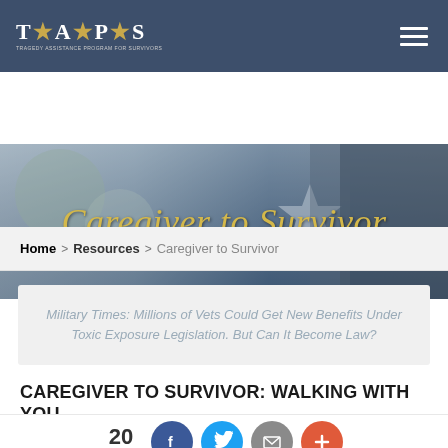[Figure (screenshot): TAPS organization navigation bar with logo and hamburger menu on dark blue background]
[Figure (photo): Hero banner image showing military uniform with star insignia, overlaid with gold italic script text 'Caregiver to Survivor']
Home > Resources > Caregiver to Survivor
Military Times: Millions of Vets Could Get New Benefits Under Toxic Exposure Legislation. But Can It Become Law?
CAREGIVER TO SURVIVOR: WALKING WITH YOU
20 Shares